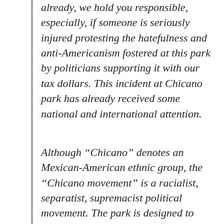already, we hold you responsible, especially, if someone is seriously injured protesting the hatefulness and anti-Americanism fostered at this park by politicians supporting it with our tax dollars. This incident at Chicano park has already received some national and international attention.
Although “Chicano” denotes an Mexican-American ethnic group, the “Chicano movement” is a racialist, separatist, supremacist political movement. The park is designed to reflect this narrow, anti-American political movement. It does NOT